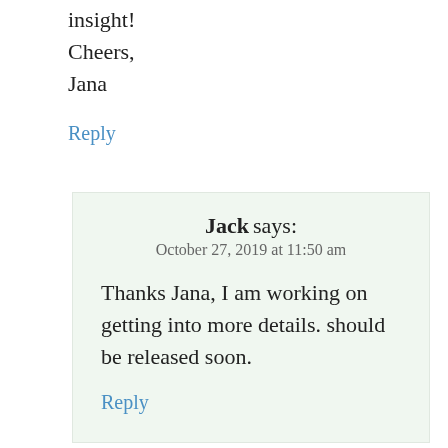insight!
Cheers,
Jana
Reply
Jack says:
October 27, 2019 at 11:50 am
Thanks Jana, I am working on getting into more details. should be released soon.
Reply